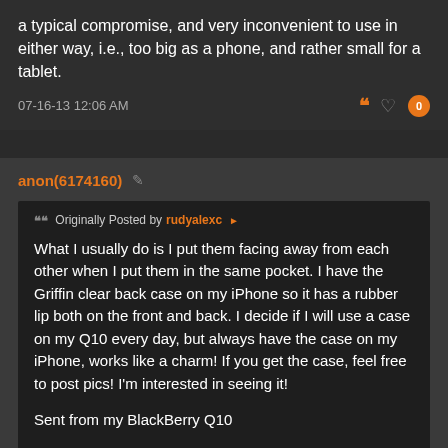a typical compromise, and very inconvenient to use in either way, i.e., too big as a phone, and rather small for a tablet.
07-16-13 12:06 AM
anon(6174160)
Originally Posted by rudyalexc
What I usually do is I put them facing away from each other when I put them in the same pocket. I have the Griffin clear back case on my iPhone so it has a rubber lip both on the front and back. I decide if I will use a case on my Q10 every day, but always have the case on my iPhone, works like a charm! If you get the case, feel free to post pics! I'm interested in seeing it!

Sent from my BlackBerry Q10